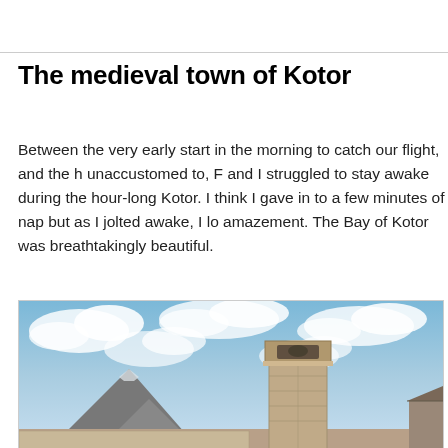The medieval town of Kotor
Between the very early start in the morning to catch our flight, and the h unaccustomed to, F and I struggled to stay awake during the hour-long Kotor. I think I gave in to a few minutes of nap but as I jolted awake, I lo amazement. The Bay of Kotor was breathtakingly beautiful.
[Figure (photo): Photograph of a medieval stone bell tower in Kotor, Montenegro, with a cloudy blue sky and mountains in the background.]